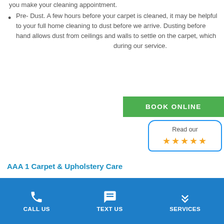you make your cleaning appointment.
Pre- Dust. A few hours before your carpet is cleaned, it may be helpful to your full home cleaning to dust before we arrive.  Dusting before hand allows dust from ceilings and walls to settle on the carpet, which during our service.
[Figure (other): Green button with text BOOK ONLINE]
[Figure (other): Review badge with 'Read our' text and 5 gold stars, blue rounded border]
AAA 1 Carpet & Upholstery Care
(800) 452-7237
[Figure (other): Social media icons: Facebook, LinkedIn, Twitter, Email]
CALL US   TEXT US   SERVICES